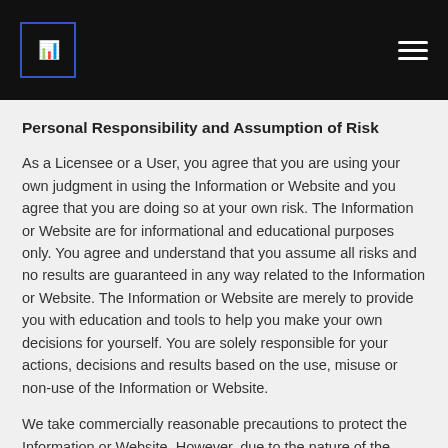[Logo] [Hamburger menu]
Personal Responsibility and Assumption of Risk
As a Licensee or a User, you agree that you are using your own judgment in using the Information or Website and you agree that you are doing so at your own risk. The Information or Website are for informational and educational purposes only. You agree and understand that you assume all risks and no results are guaranteed in any way related to the Information or Website. The Information or Website are merely to provide you with education and tools to help you make your own decisions for yourself. You are solely responsible for your actions, decisions and results based on the use, misuse or non-use of the Information or Website.
We take commercially reasonable precautions to protect the Information or Website. However, due to the nature of the Internet, we cannot completely ensure or warrant the